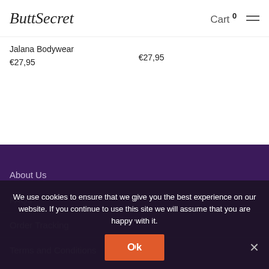ButtSecret — Cart 0
Jalana Bodywear
€27,95
€27,95
About Us
FAQs
Order Tracking
Terms and Conditions
Privacy Policy
Contact
We use cookies to ensure that we give you the best experience on our website. If you continue to use this site we will assume that you are happy with it.
Ok